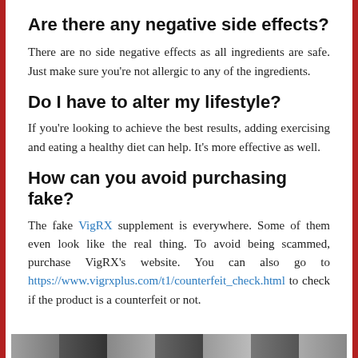Are there any negative side effects?
There are no side negative effects as all ingredients are safe. Just make sure you're not allergic to any of the ingredients.
Do I have to alter my lifestyle?
If you're looking to achieve the best results, adding exercising and eating a healthy diet can help. It's more effective as well.
How can you avoid purchasing fake?
The fake VigRX supplement is everywhere. Some of them even look like the real thing. To avoid being scammed, purchase VigRX's website. You can also go to https://www.vigrxplus.com/t1/counterfeit_check.html to check if the product is a counterfeit or not.
[Figure (photo): Partial image strip at the bottom of the page, cropped photos]